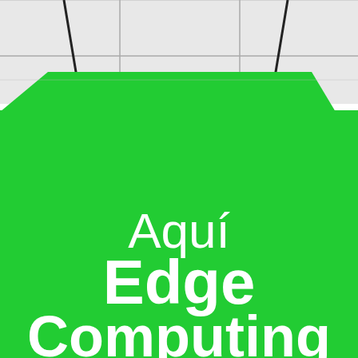[Figure (photo): A green shopping bag or signage with white grid/tile background visible at top. The green surface fills most of the image. Text reads 'Aquí' in regular weight white, then 'Edge Computing' in bold white, large lettering below.]